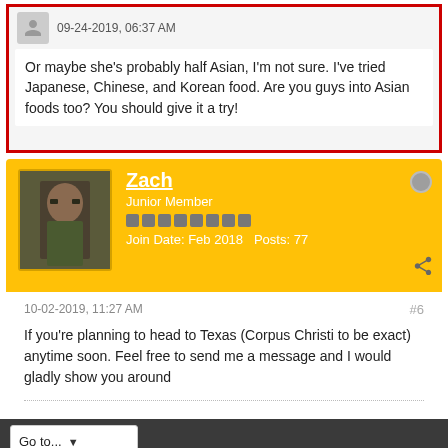09-24-2019, 06:37 AM
Or maybe she's probably half Asian, I'm not sure. I've tried Japanese, Chinese, and Korean food. Are you guys into Asian foods too? You should give it a try!
Zach
Junior Member
Join Date: Feb 2018   Posts: 77
10-02-2019, 11:27 AM
#6
If you're planning to head to Texas (Corpus Christi to be exact) anytime soon. Feel free to send me a message and I would gladly show you around
Go to...
Powered by vBulletin® Version 5.6.4
Copyright © 2022 MH Sub I, LLC dba vBulletin. All rights reserved.
All times are GMT0. This page was generated at 02:54 PM.